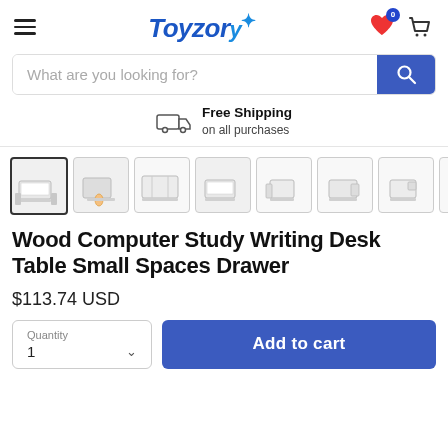Toyzory — navigation header with hamburger menu, logo, wishlist and cart icons
What are you looking for?
Free Shipping on all purchases
[Figure (screenshot): Thumbnail strip of 8 product images of a white wood computer desk]
Wood Computer Study Writing Desk Table Small Spaces Drawer
$113.74 USD
Quantity 1 — Add to cart button